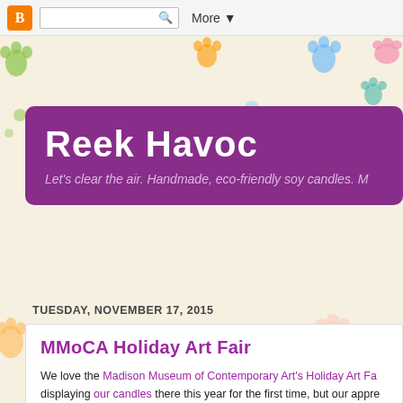Blogger toolbar with search box and More button
[Figure (illustration): Colorful paw print pattern background on cream/light yellow background with pink, orange, green, blue, teal paw prints]
Reek Havoc
Let's clear the air. Handmade, eco-friendly soy candles. M
TUESDAY, NOVEMBER 17, 2015
MMoCA Holiday Art Fair
We love the Madison Museum of Contemporary Art's Holiday Art Fa displaying our candles there this year for the first time, but our appre runs deeper than a sales opportunity.
We've both spent the majority of our professional careers helping artis online art companies together helping artists market their work and sh